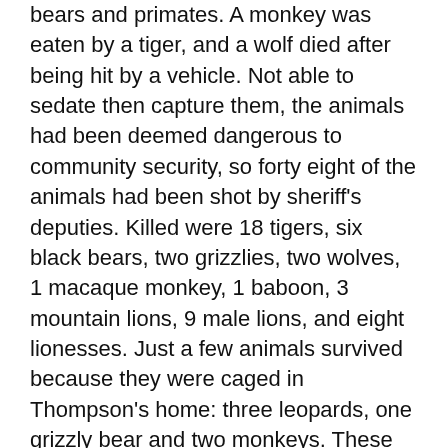bears and primates. A monkey was eaten by a tiger, and a wolf died after being hit by a vehicle. Not able to sedate then capture them, the animals had been deemed dangerous to community security, so forty eight of the animals had been shot by sheriff's deputies. Killed were 18 tigers, six black bears, two grizzlies, two wolves, 1 macaque monkey, 1 baboon, 3 mountain lions, 9 male lions, and eight lionesses. Just a few animals survived because they were caged in Thompson's home: three leopards, one grizzly bear and two monkeys. These had been tranquilized and despatched to the Columbus zoo.
You have a young son at house, and following you left the display you had produced a comment about how you hoped he would consider some thing positive